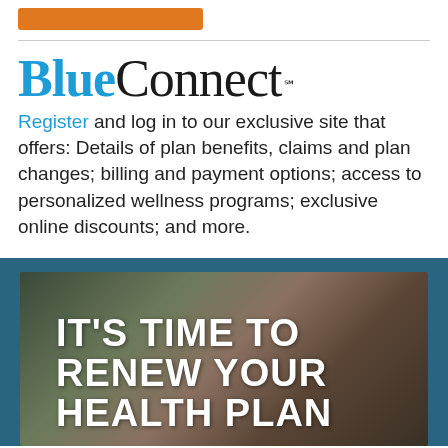[Figure (logo): Orange button placeholder at top]
BlueConnect™
Register and log in to our exclusive site that offers: Details of plan benefits, claims and plan changes; billing and payment options; access to personalized wellness programs; exclusive online discounts; and more.
[Figure (photo): Photo of a person at a laptop with plants in background, overlaid with bold white text: IT'S TIME TO RENEW YOUR HEALTH PLAN]